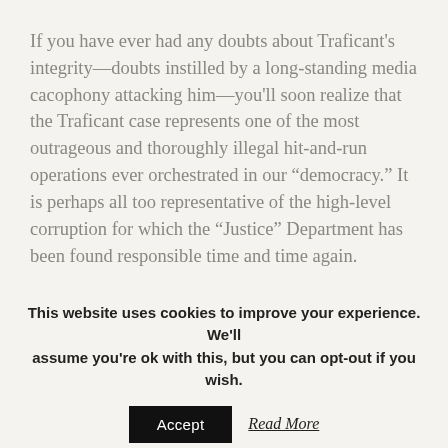If you have ever had any doubts about Traficant's integrity—doubts instilled by a long-standing media cacophony attacking him—you'll soon realize that the Traficant case represents one of the most outrageous and thoroughly illegal hit-and-run operations ever orchestrated in our “democracy.” It is perhaps all too representative of the high-level corruption for which the “Justice” Department has been found responsible time and time again.
Piper dissects the intrigues of the DoJ and the FBI (as well as the maneuvers by the federal judge who
This website uses cookies to improve your experience. We'll assume you're ok with this, but you can opt-out if you wish. Accept Read More